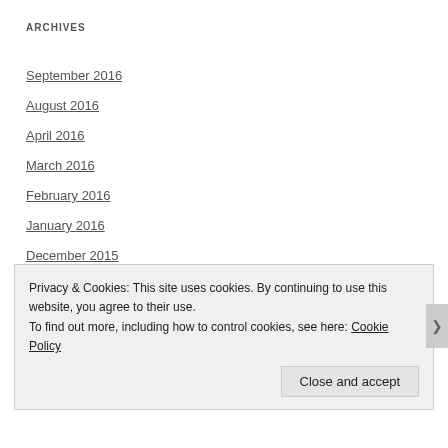ARCHIVES
September 2016
August 2016
April 2016
March 2016
February 2016
January 2016
December 2015
November 2015
October 2015
September 2015
Privacy & Cookies: This site uses cookies. By continuing to use this website, you agree to their use.
To find out more, including how to control cookies, see here: Cookie Policy
Close and accept